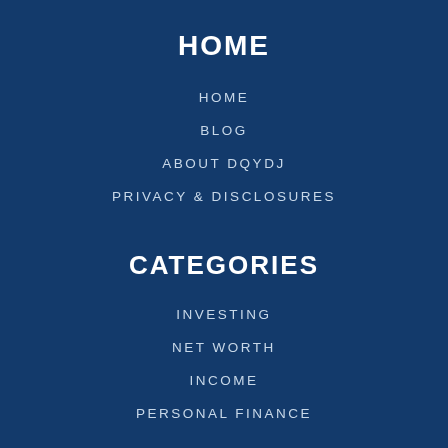HOME
HOME
BLOG
ABOUT DQYDJ
PRIVACY & DISCLOSURES
CATEGORIES
INVESTING
NET WORTH
INCOME
PERSONAL FINANCE